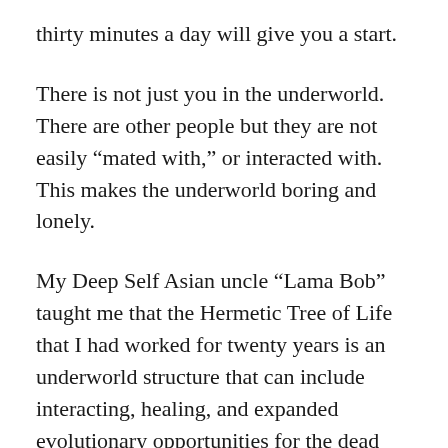thirty minutes a day will give you a start.
There is not just you in the underworld. There are other people but they are not easily “mated with,” or interacted with. This makes the underworld boring and lonely.
My Deep Self Asian uncle “Lama Bob” taught me that the Hermetic Tree of Life that I had worked for twenty years is an underworld structure that can include interacting, healing, and expanded evolutionary opportunities for the dead both locally and within your ancestry or close association. If you will meditate and work with